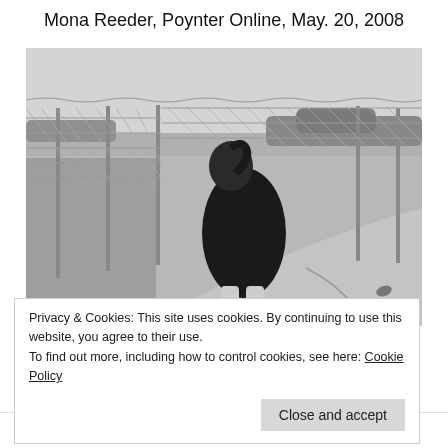Mona Reeder, Poynter Online, May. 20, 2008
[Figure (photo): Black and white photograph of a young person wearing a dark sleeveless dress and white sneakers, hunched over near a chain-link fence on a concrete surface. The background shows a flat open field and trees under an overcast sky.]
Privacy & Cookies: This site uses cookies. By continuing to use this website, you agree to their use.
To find out more, including how to control cookies, see here: Cookie Policy
Follow